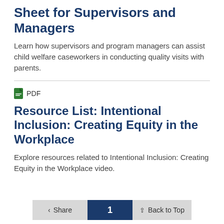Sheet for Supervisors and Managers
Learn how supervisors and program managers can assist child welfare caseworkers in conducting quality visits with parents.
PDF
Resource List: Intentional Inclusion: Creating Equity in the Workplace
Explore resources related to Intentional Inclusion: Creating Equity in the Workplace video.
Share  1  Back to Top